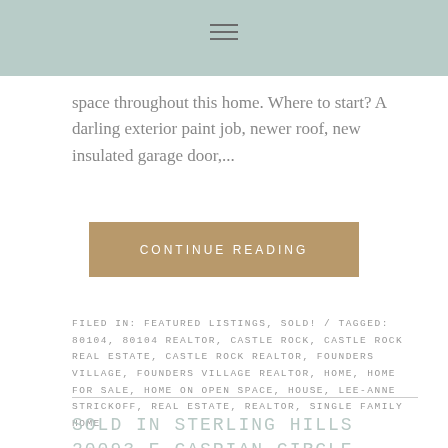≡
space throughout this home. Where to start? A darling exterior paint job, newer roof, new insulated garage door,...
CONTINUE READING
FILED IN: FEATURED LISTINGS, SOLD! / TAGGED: 80104, 80104 REALTOR, CASTLE ROCK, CASTLE ROCK REAL ESTATE, CASTLE ROCK REALTOR, FOUNDERS VILLAGE, FOUNDERS VILLAGE REALTOR, HOME, HOME FOR SALE, HOME ON OPEN SPACE, HOUSE, LEE-ANNE STRICKOFF, REAL ESTATE, REALTOR, SINGLE FAMILY HOME
SOLD IN STERLING HILLS 20093 E CASPIAN CIRCLE, AURORA 80013